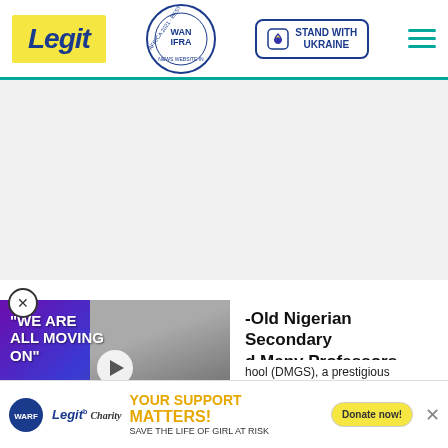Legit — Best News Website in Africa 2021 WAN IFRA — STAND WITH UKRAINE
[Figure (screenshot): Gray advertisement placeholder area]
[Figure (screenshot): Video overlay with purple background showing text WE ARE ALL MOVING ON with a play button over a photo of two people]
-Old Nigerian Secondary d Many Professors
hool (DMGS), a prestigious hool in Onitsha, Anambra state,
[Figure (screenshot): Charity banner: YOUR SUPPORT MATTERS! SAVE THE LIFE OF GIRL AT RISK with Donate now button and close X]